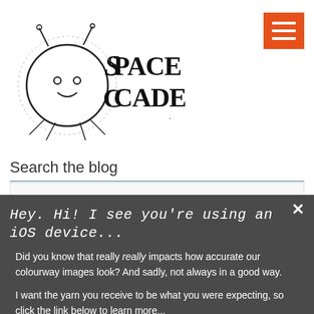[Figure (logo): Space Cadet logo with hand-drawn astronaut character and stylized 'Space Cadet' text]
[Figure (illustration): Orange hamburger menu button with three white horizontal lines]
Search the blog
[Figure (logo): POWERED BY SUMO badge/pill with crown icon]
Hey. Hi! I see you're using an iOS device...
Did you know that really really impacts how accurate our colourway images look? And sadly, not always in a good way.
I want the yarn you receive to be what you were expecting, so click the link below to learn more...
Learn How iOS Affects Colour